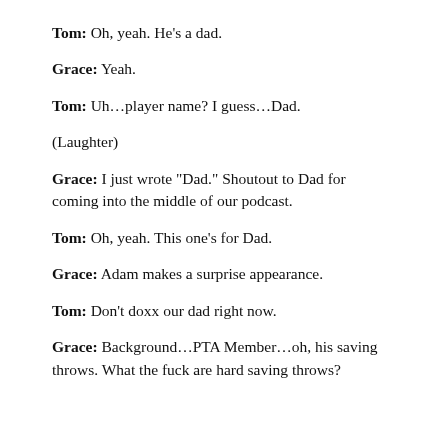Tom: Oh, yeah. He's a dad.
Grace: Yeah.
Tom: Uh…player name? I guess…Dad.
(Laughter)
Grace: I just wrote “Dad.” Shoutout to Dad for coming into the middle of our podcast.
Tom: Oh, yeah. This one’s for Dad.
Grace: Adam makes a surprise appearance.
Tom: Don’t doxx our dad right now.
Grace: Background…PTA Member…oh, his saving throws. What the fuck are hard saving throws?